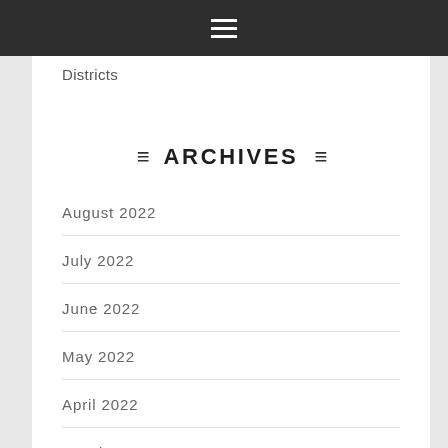≡ (hamburger menu icon)
Districts
≡ ARCHIVES ≡
August 2022
July 2022
June 2022
May 2022
April 2022
March 2022